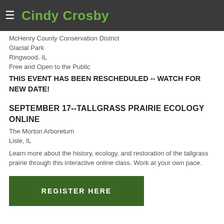Cindy Crosby
McHenry County Conservation District
Glacial Park
Ringwood, IL
Free and Open to the Public
THIS EVENT HAS BEEN RESCHEDULED -- WATCH FOR NEW DATE!
SEPTEMBER 17--TALLGRASS PRAIRIE ECOLOGY ONLINE
The Morton Arboretum
Lisle, IL
Learn more about the history, ecology, and restoration of the tallgrass prairie through this interactive online class. Work at your own pace.
REGISTER HERE